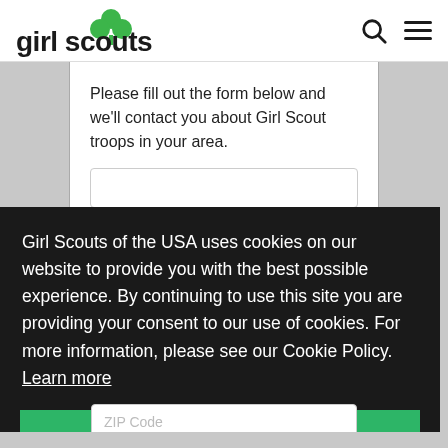[Figure (logo): Girl Scouts logo with green trefoil/clover leaf icon and bold 'girl scouts' text]
Please fill out the form below and we'll contact you about Girl Scout troops in your area.
Girl Scouts of the USA uses cookies on our website to provide you with the best possible experience. By continuing to use this site you are providing your consent to our use of cookies. For more information, please see our Cookie Policy. Learn more
Agree
ZIP Code